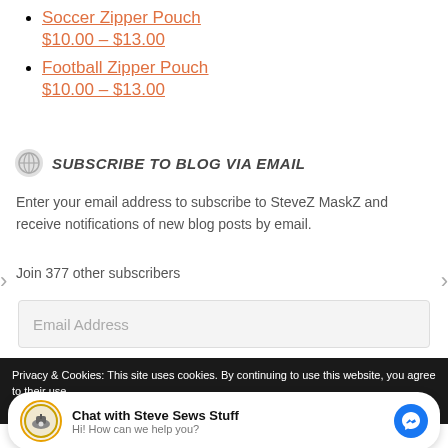Soccer Zipper Pouch $10.00 – $13.00
Football Zipper Pouch $10.00 – $13.00
Subscribe to Blog via Email
Enter your email address to subscribe to SteveZ MaskZ and receive notifications of new blog posts by email.
Join 377 other subscribers
Email Address
Privacy & Cookies: This site uses cookies. By continuing to use this website, you agree to their use. To find out more, including how to control cookies, see here: Cookie &
Chat with Steve Sews Stuff
Hi! How can we help you?